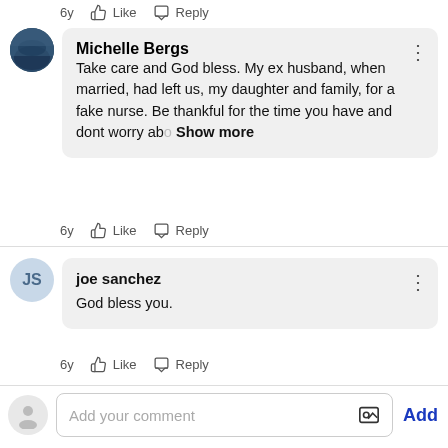6y  Like  Reply
Michelle Bergs
Take care and God bless. My ex husband, when married, had left us, my daughter and family, for a fake nurse. Be thankful for the time you have and dont worry abo  Show more
6y  Like  Reply
joe sanchez
God bless you.
6y  Like  Reply
Add your comment  Add